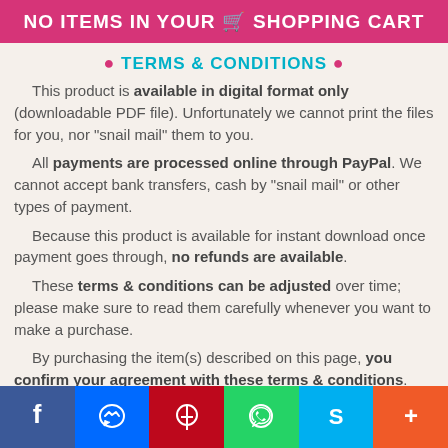NO ITEMS IN YOUR SHOPPING CART
• TERMS & CONDITIONS •
This product is available in digital format only (downloadable PDF file). Unfortunately we cannot print the files for you, nor "snail mail" them to you.
All payments are processed online through PayPal. We cannot accept bank transfers, cash by "snail mail" or other types of payment.
Because this product is available for instant download once payment goes through, no refunds are available.
These terms & conditions can be adjusted over time; please make sure to read them carefully whenever you want to make a purchase.
By purchasing the item(s) described on this page, you confirm your agreement with these terms & conditions.
Social share buttons: Facebook, Messenger, Pinterest, WhatsApp, Skype, More